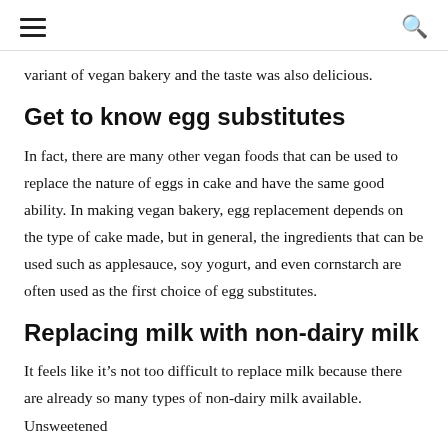≡  🔍
variant of vegan bakery and the taste was also delicious.
Get to know egg substitutes
In fact, there are many other vegan foods that can be used to replace the nature of eggs in cake and have the same good ability. In making vegan bakery, egg replacement depends on the type of cake made, but in general, the ingredients that can be used such as applesauce, soy yogurt, and even cornstarch are often used as the first choice of egg substitutes.
Replacing milk with non-dairy milk
It feels like it's not too difficult to replace milk because there are already so many types of non-dairy milk available. Unsweetened